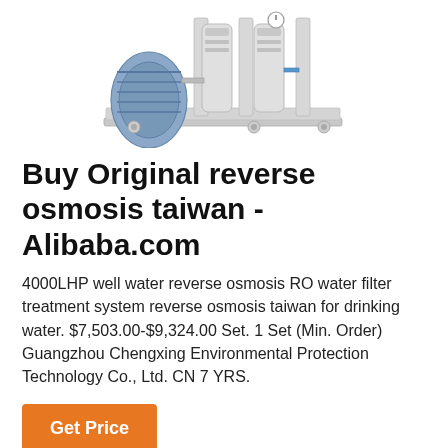[Figure (photo): Industrial reverse osmosis water filter treatment machine on a wheeled stainless steel frame, with two cylindrical filter columns and a motor/pump unit on the left side, photographed on white background.]
Buy Original reverse osmosis taiwan - Alibaba.com
4000LHP well water reverse osmosis RO water filter treatment system reverse osmosis taiwan for drinking water. $7,503.00-$9,324.00 Set. 1 Set (Min. Order) Guangzhou Chengxing Environmental Protection Technology Co., Ltd. CN 7 YRS.